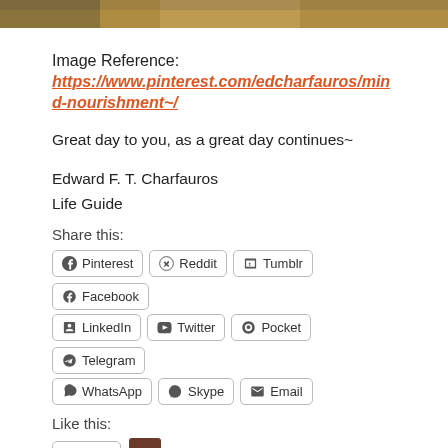[Figure (photo): Partial photo strip at the top of the page, showing a nature/outdoor scene]
Image Reference:
https://www.pinterest.com/edcharfauros/mind-nourishment~/
Great day to you, as a great day continues~
Edward F. T. Charfauros
Life Guide
Share this:
Pinterest  Reddit  Tumblr  Facebook  LinkedIn  Twitter  Pocket  Telegram  WhatsApp  Skype  Email
Like this:
Like